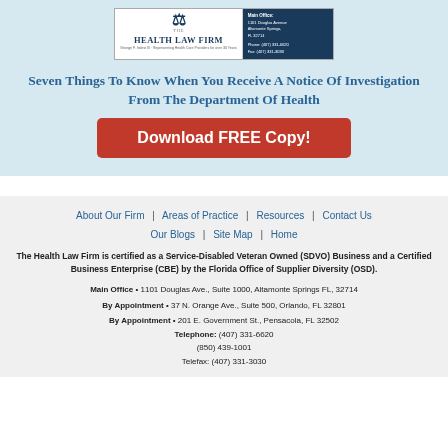[Figure (logo): The Health Law Firm logo with scales of justice icon, firm name, and contact information on dark blue background]
Seven Things To Know When You Receive A Notice Of Investigation From The Department Of Health
Download FREE Copy!
About Our Firm | Areas of Practice | Resources | Contact Us | Our Blogs | Site Map | Home
The Health Law Firm is certified as a Service-Disabled Veteran Owned (SDVO) Business and a Certified Business Enterprise (CBE) by the Florida Office of Supplier Diversity (OSD).
Main Office • 1101 Douglas Ave., Suite 1000, Altamonte Springs FL, 32714
By Appointment • 37 N. Orange Ave., Suite 500, Orlando, FL 32801
By Appointment • 201 E. Government St., Pensacola, FL 32502
Telephone: (407) 331-6620
(850) 439-1001
Telefax: (407) 331-3030